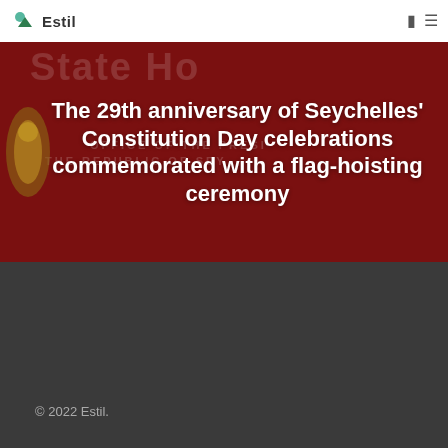Estil
[Figure (photo): Dark red/maroon background showing Office of the President of the Republic of Seychelles signage with gold emblem on the left, text overlaid with article title]
The 29th anniversary of Seychelles' Constitution Day celebrations commemorated with a flag-hoisting ceremony
© 2022 Estil.